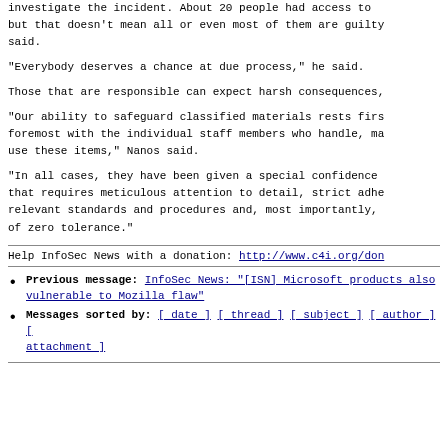investigate the incident. About 20 people had access to but that doesn't mean all or even most of them are guilty said.
"Everybody deserves a chance at due process," he said.
Those that are responsible can expect harsh consequences,
"Our ability to safeguard classified materials rests firs foremost with the individual staff members who handle, ma use these items," Nanos said.
"In all cases, they have been given a special confidence that requires meticulous attention to detail, strict adhe relevant standards and procedures and, most importantly, of zero tolerance."
Help InfoSec News with a donation: http://www.c4i.org/don
Previous message: InfoSec News: "[ISN] Microsoft products also vulnerable to Mozilla flaw"
Messages sorted by: [ date ] [ thread ] [ subject ] [ author ] [ attachment ]